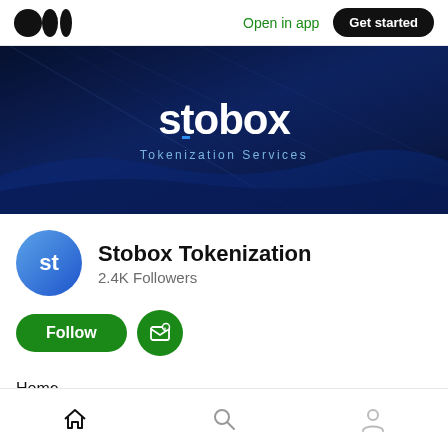Open in app  Get started
[Figure (logo): Stobox Tokenization Services banner with dark blue background and wave design]
Stobox Tokenization
2.4K Followers
Follow
Home
Home  Search  Profile navigation icons